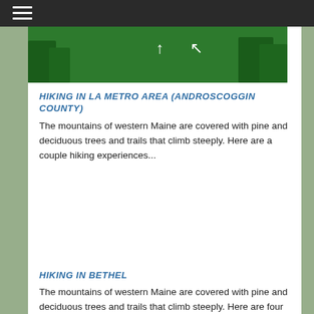Navigation menu
[Figure (photo): Green forest/tree canopy image with white trail marker icons visible]
HIKING IN LA METRO AREA (ANDROSCOGGIN COUNTY)
The mountains of western Maine are covered with pine and deciduous trees and trails that climb steeply. Here are a couple hiking experiences...
HIKING IN BETHEL
The mountains of western Maine are covered with pine and deciduous trees and trails that climb steeply. Here are four hiking experiences in...